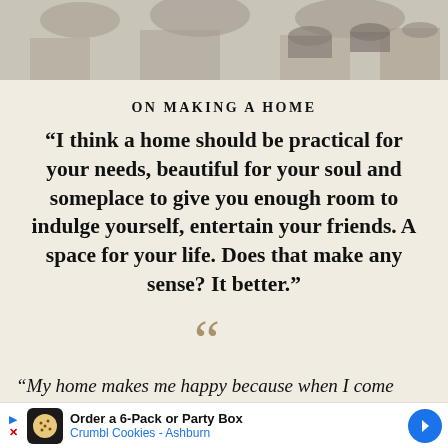[Figure (photo): Black and white photo strip showing people in a kitchen setting with pots and pans]
ON MAKING A HOME
“I think a home should be practical for your needs, beautiful for your soul and someplace to give you enough room to indulge yourself, entertain your friends. A space for your life. Does that make any sense? It better.”
[Figure (illustration): Large decorative open quotation mark in tan/gold color]
“My home makes me happy because when I come there it’s l… …nds.”
[Figure (other): Advertisement bar for Crumbl Cookies - Ashburn: Order a 6-Pack or Party Box]